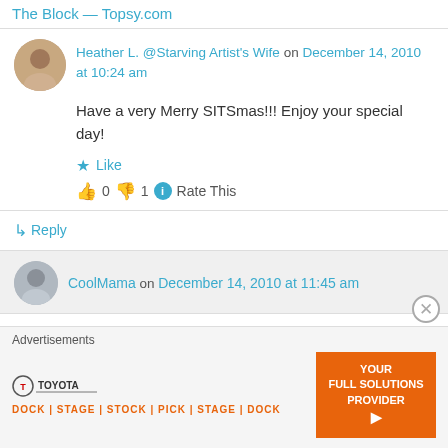The Block — Topsy.com
Heather L. @Starving Artist's Wife on December 14, 2010 at 10:24 am
Have a very Merry SITSmas!!! Enjoy your special day!
★ Like
👍 0 👎 1 ℹ Rate This
↳ Reply
CoolMama on December 14, 2010 at 11:45 am
Advertisements
[Figure (other): Toyota advertisement banner with orange DOCK STAGE STOCK PICK text and 'YOUR FULL SOLUTIONS PROVIDER' orange box]